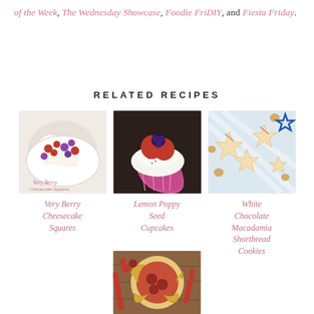of the Week, The Wednesday Showcase, Foodie FriDIY, and Fiesta Friday.
RELATED RECIPES
[Figure (photo): Very Berry Cheesecake Squares - berries on cheesecake squares on a plate]
Very Berry Cheesecake Squares
[Figure (photo): Lemon Poppy Seed Cupcakes - cupcake topped with strawberries and blackberries]
Lemon Poppy Seed Cupcakes
[Figure (photo): White Chocolate Macadamia Shortbread Cookies - star shaped cookies on striped cloth]
White Chocolate Macadamia Shortbread Cookies
[Figure (photo): A rustic galette or pie with cherry/rhubarb filling on a wooden board]